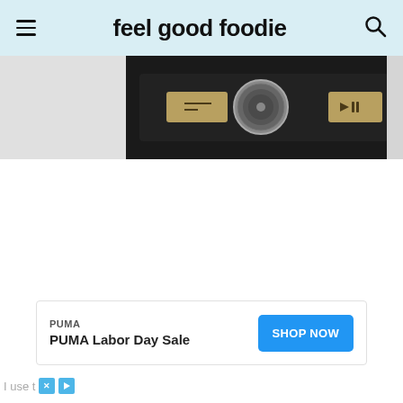feel good foodie
[Figure (photo): Close-up photo of a black kitchen appliance control panel with a large silver dial/knob in the center and two gold/brass colored buttons on either side]
[Figure (infographic): Advertisement banner: PUMA - PUMA Labor Day Sale - SHOP NOW button]
I use t